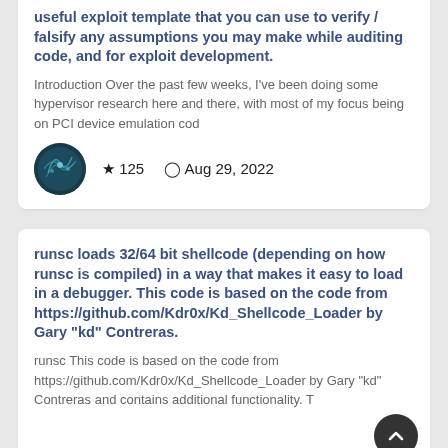useful exploit template that you can use to verify / falsify any assumptions you may make while auditing code, and for exploit development.
Introduction Over the past few weeks, I've been doing some hypervisor research here and there, with most of my focus being on PCI device emulation cod
★ 125   🕐 Aug 29, 2022
runsc loads 32/64 bit shellcode (depending on how runsc is compiled) in a way that makes it easy to load in a debugger. This code is based on the code from https://github.com/Kdr0x/Kd_Shellcode_Loader by Gary "kd" Contreras.
runsc This code is based on the code from https://github.com/Kdr0x/Kd_Shellcode_Loader by Gary "kd" Contreras and contains additional functionality. T